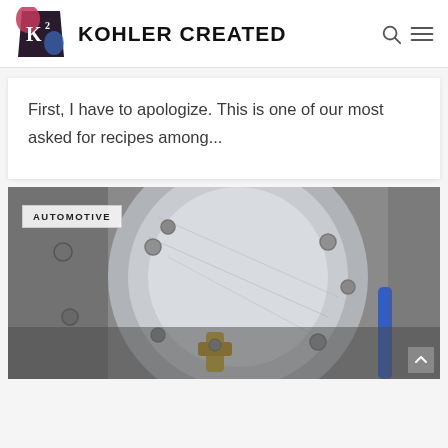KOHLER CREATED
First, I have to apologize. This is one of our most asked for recipes among...
[Figure (photo): Close-up photograph of an automotive engine component, showing a round metallic surface with bolts and a wrench/socket tool being used. An oil drain or filter is visible. Category label 'AUTOMOTIVE' shown in top left.]